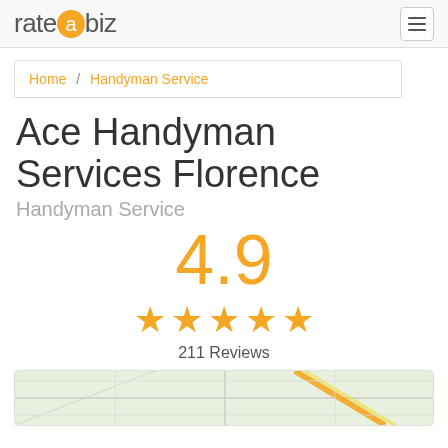rateabiz
Home / Handyman Service
Ace Handyman Services Florence
Handyman Service
4.9
[Figure (other): Five orange star rating icons]
211 Reviews
[Figure (map): Partial street map preview showing road intersections]